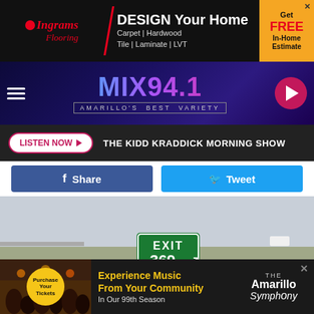[Figure (photo): Ingrams Flooring advertisement banner: Design Your Home - Carpet, Hardwood, Tile, Laminate, LVT. Get FREE In-Home Estimate.]
[Figure (logo): MIX 94.1 radio station header - Amarillo's Best Variety with hamburger menu and play button]
LISTEN NOW  THE KIDD KRADDICK MORNING SHOW
Share  Tweet
[Figure (photo): Highway road photo showing Exit 369 highway sign in a flat rural landscape with dry grass, overcast sky, and road curving to the right]
[Figure (photo): Amarillo Symphony advertisement: Experience Music From Your Community In Our 99th Season. Purchase Your Tickets.]